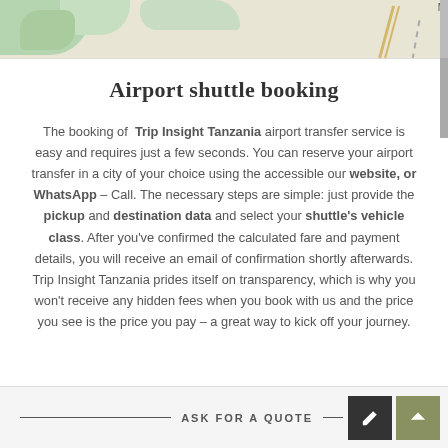[Figure (screenshot): Map strip showing green terrain areas, a road, and a dashed path on a light beige background with an 'M' marker in the upper right corner.]
Airport shuttle booking
The booking of Trip Insight Tanzania airport transfer service is easy and requires just a few seconds. You can reserve your airport transfer in a city of your choice using the accessible our website, or WhatsApp – Call. The necessary steps are simple: just provide the pickup and destination data and select your shuttle's vehicle class. After you've confirmed the calculated fare and payment details, you will receive an email of confirmation shortly afterwards. Trip Insight Tanzania prides itself on transparency, which is why you won't receive any hidden fees when you book with us and the price you see is the price you pay – a great way to kick off your journey.
ASK FOR A QUOTE